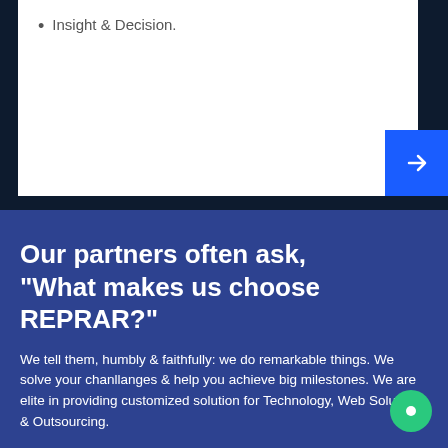Insight & Decision.
Our partners often ask, "What makes us choose REPRAR?"
We tell them, humbly & faithfully: we do remarkable things. We solve your chanllanges & help you achieve big milestones. We are elite in providing customized solution for Technology, Web Solutions & Outsourcing.